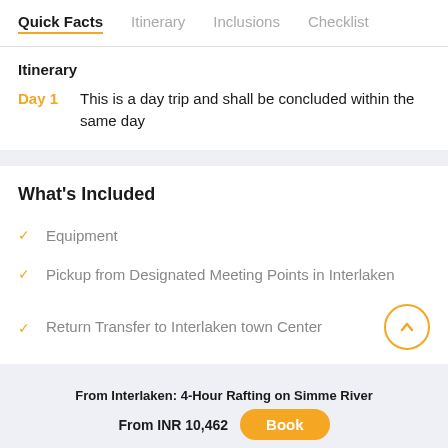Quick Facts  Itinerary  Inclusions  Checklist
Itinerary
Day 1   This is a day trip and shall be concluded within the same day
What's Included
Equipment
Pickup from Designated Meeting Points in Interlaken
Return Transfer to Interlaken town Center
From Interlaken: 4-Hour Rafting on Simme River
From INR 10,462  Book